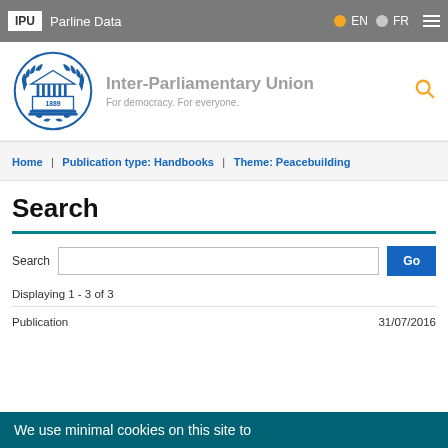IPU | Parline Data | EN | FR
[Figure (logo): Inter-Parliamentary Union logo with laurel wreath, parliament building and 1889 text. Followed by text: Inter-Parliamentary Union. For democracy. For everyone.]
Home | Publication type: Handbooks | Theme: Peacebuilding
Search
Search  [input box]  Go
Displaying 1 - 3 of 3
Publication   31/07/2016
We use minimal cookies on this site to